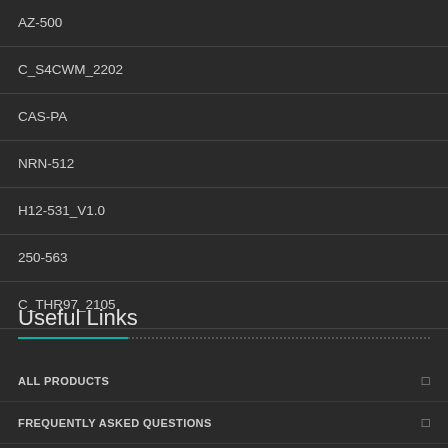AZ-500
C_S4CWM_2202
CAS-PA
NRN-512
H12-531_V1.0
250-563
C_THR97_2105
Useful Links
ALL PRODUCTS
FREQUENTLY ASKED QUESTIONS
GUARANTEE & REFUND POLICY